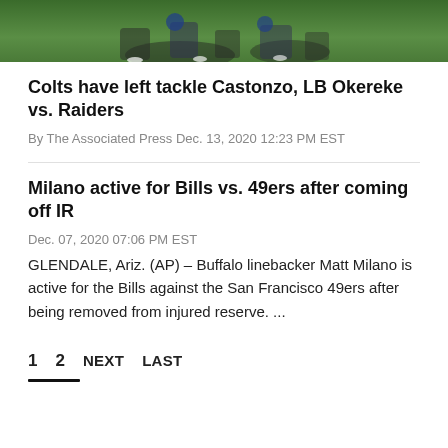[Figure (photo): Football players on a grass field, bottom portion of action photo cropped at top of page]
Colts have left tackle Castonzo, LB Okereke vs. Raiders
By The Associated Press Dec. 13, 2020 12:23 PM EST
Milano active for Bills vs. 49ers after coming off IR
Dec. 07, 2020 07:06 PM EST
GLENDALE, Ariz. (AP) – Buffalo linebacker Matt Milano is active for the Bills against the San Francisco 49ers after being removed from injured reserve. ...
1   2   NEXT   LAST